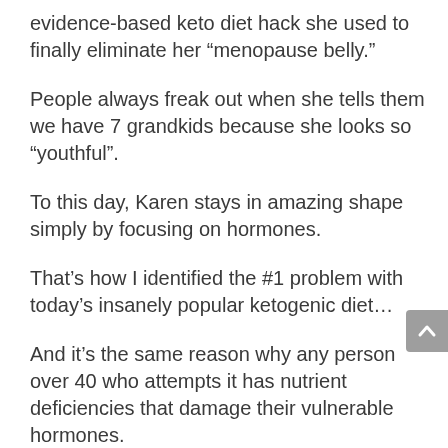evidence-based keto diet hack she used to finally eliminate her “menopause belly.”
People always freak out when she tells them we have 7 grandkids because she looks so “youthful”.
To this day, Karen stays in amazing shape simply by focusing on hormones.
That’s how I identified the #1 problem with today’s insanely popular ketogenic diet…
And it’s the same reason why any person over 40 who attempts it has nutrient deficiencies that damage their vulnerable hormones.